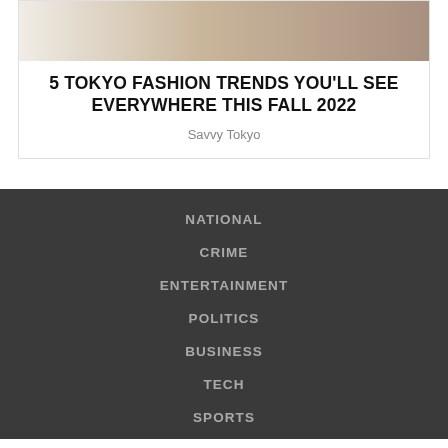[Figure (photo): Partial view of a person wearing a beige/tan quilted jacket, cropped at the top of the card]
5 TOKYO FASHION TRENDS YOU'LL SEE EVERYWHERE THIS FALL 2022
Savvy Tokyo
NATIONAL
CRIME
ENTERTAINMENT
POLITICS
BUSINESS
TECH
SPORTS